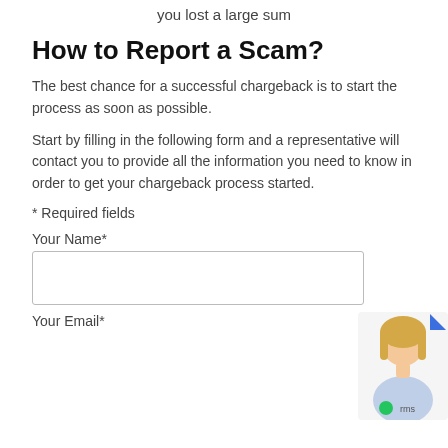you lost a large sum
How to Report a Scam?
The best chance for a successful chargeback is to start the process as soon as possible.
Start by filling in the following form and a representative will contact you to provide all the information you need to know in order to get your chargeback process started.
* Required fields
Your Name*
Your Email*